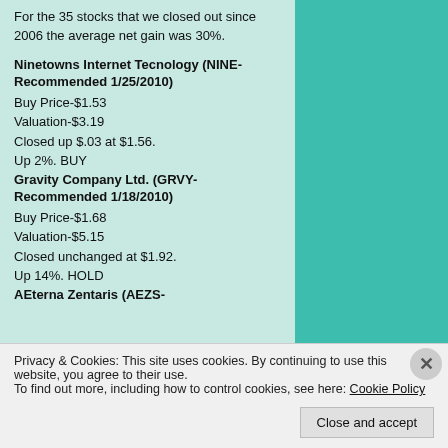For the 35 stocks that we closed out since 2006 the average net gain was 30%.
Ninetowns Internet Tecnology (NINE-Recommended 1/25/2010)
Buy Price-$1.53
Valuation-$3.19
Closed up $.03 at $1.56.
Up 2%. BUY
Gravity Company Ltd. (GRVY-Recommended 1/18/2010)
Buy Price-$1.68
Valuation-$5.15
Closed unchanged at $1.92.
Up 14%. HOLD
AEterna Zentaris (AEZS-
Privacy & Cookies: This site uses cookies. By continuing to use this website, you agree to their use.
To find out more, including how to control cookies, see here: Cookie Policy
Close and accept